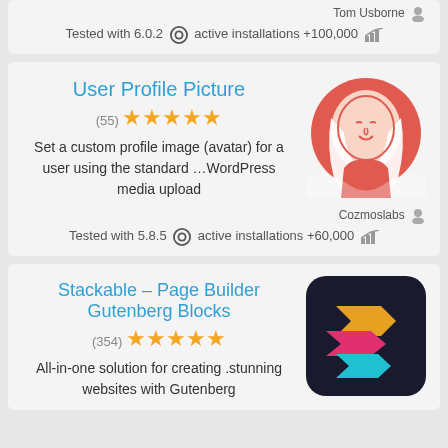Tom Usborne
Tested with 6.0.2 active installations +100,000
User Profile Picture
(55) ★★★★★
Set a custom profile image (avatar) for a user using the standard ...WordPress media upload
[Figure (illustration): User Profile Picture plugin icon: cartoon illustration of a woman with long hair inside a red/coral circle]
Cozmoslabs
Tested with 5.8.5 active installations +60,000
Stackable – Page Builder Gutenberg Blocks
(354) ★★★★★
All-in-one solution for creating stunning websites with Gutenberg
[Figure (logo): Stackable plugin logo: dark rounded square with orange, pink/magenta, and cyan/teal geometric arrow shapes forming a stylized S]